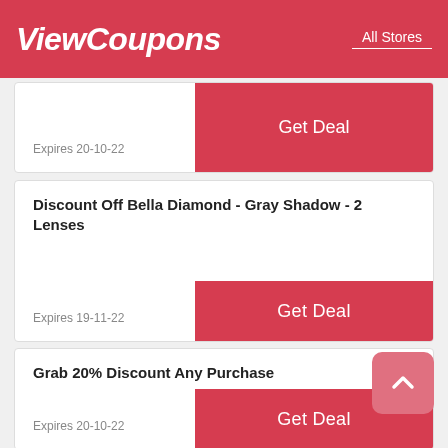ViewCoupons — All Stores
Expires 20-10-22
Get Deal
Discount Off Bella Diamond - Gray Shadow - 2 Lenses
Expires 19-11-22
Get Deal
Grab 20% Discount Any Purchase
Expires 20-10-22
Get Deal